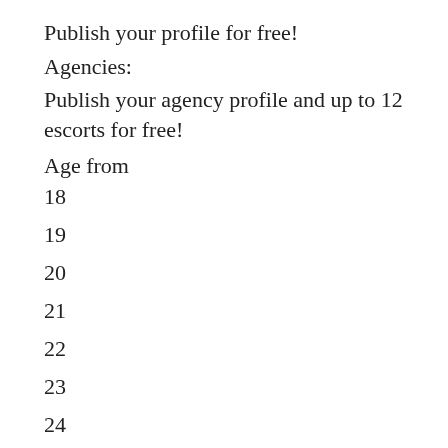Publish your profile for free!
Agencies:
Publish your agency profile and up to 12 escorts for free!
Age from
18
19
20
21
22
23
24
25
26
27
28